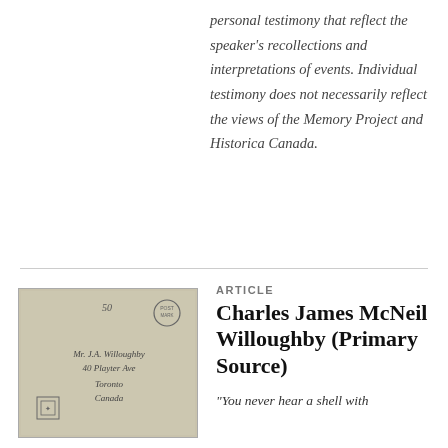personal testimony that reflect the speaker's recollections and interpretations of events. Individual testimony does not necessarily reflect the views of the Memory Project and Historica Canada.
[Figure (photo): A vintage envelope addressed to Mr. J.A. Willoughby, 40 Playter Ave, Toronto, Canada. The envelope is aged tan/grey with handwritten address and postal markings including a circular postmark stamp and a small square emblem.]
ARTICLE
Charles James McNeil Willoughby (Primary Source)
"You never hear a shell with